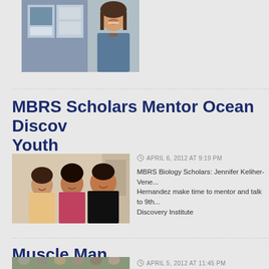[Figure (photo): Photo of a smiling woman standing in front of display boards/posters]
MBRS Scholars Mentor Ocean Discovery Youth
[Figure (photo): Photo of three young people (two women and a man) smiling together]
APRIL 6, 2012 AT 9:19 PM
MBRS Biology Scholars: Jennifer Keliher-Vene... Hernandez make time to mentor and talk to 9th... Discovery Institute
Muscle Man
[Figure (photo): Group photo of multiple people outdoors]
APRIL 5, 2012 AT 11:45 PM
MBRS/IMSD Co-Principle Investigator/Director... 2013 Albert W. Johnson University Research...